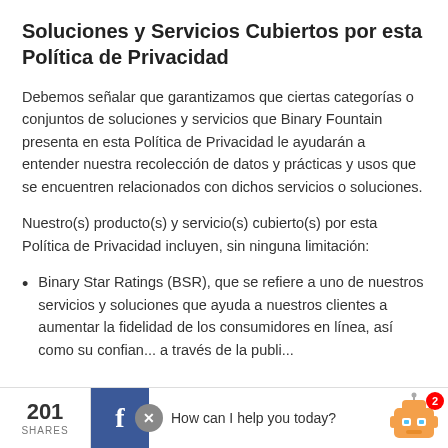Soluciones y Servicios Cubiertos por esta Política de Privacidad
Debemos señalar que garantizamos que ciertas categorías o conjuntos de soluciones y servicios que Binary Fountain presenta en esta Política de Privacidad le ayudarán a entender nuestra recolección de datos y prácticas y usos que se encuentren relacionados con dichos servicios o soluciones.
Nuestro(s) producto(s) y servicio(s) cubierto(s) por esta Política de Privacidad incluyen, sin ninguna limitación:
Binary Star Ratings (BSR), que se refiere a uno de nuestros servicios y soluciones que ayuda a nuestros clientes a aumentar la fidelidad de los consumidores en línea, así como su confian... a través de la publi...
201 SHARES  How can I help you today?